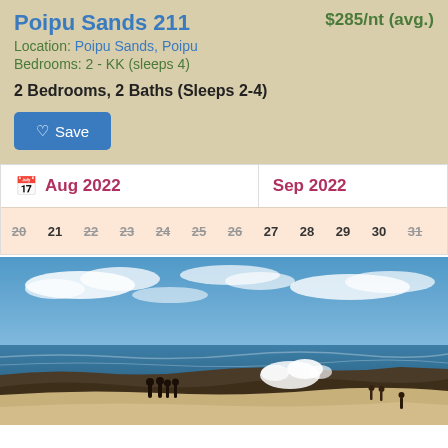Poipu Sands 211
$285/nt (avg.)
Location: Poipu Sands, Poipu
Bedrooms: 2 - KK (sleeps 4)
2 Bedrooms, 2 Baths (Sleeps 2-4)
Save
[Figure (screenshot): Calendar widget showing Aug 2022 and Sep 2022 with dates 20-31 for August and 1-6 for September displayed in a horizontal scrollable row with a peach/salmon background.]
[Figure (photo): Beach photo showing people standing near the shoreline with waves crashing on rocks, blue sky with scattered white clouds overhead.]